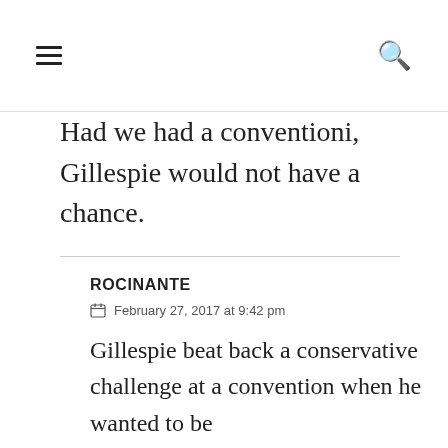≡  🔍
Had we had a conventioni, Gillespie would not have a chance.
ROCINANTE
February 27, 2017 at 9:42 pm
Gillespie beat back a conservative challenge at a convention when he wanted to be